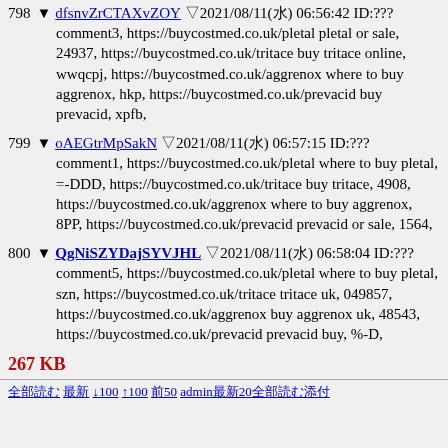798 dfsnvZrCTAXvZOY 2021/08/11(水) 06:56:42 ID:??? comment3, https://buycostmed.co.uk/pletal pletal or sale, 24937, https://buycostmed.co.uk/tritace buy tritace online, wwqcpj, https://buycostmed.co.uk/aggrenox where to buy aggrenox, hkp, https://buycostmed.co.uk/prevacid buy prevacid, xpfb,
799 oAEGtrMpSakN 2021/08/11(水) 06:57:15 ID:??? comment1, https://buycostmed.co.uk/pletal where to buy pletal, =-DDD, https://buycostmed.co.uk/tritace buy tritace, 4908, https://buycostmed.co.uk/aggrenox where to buy aggrenox, 8PP, https://buycostmed.co.uk/prevacid prevacid or sale, 1564,
800 QgNiSZYDajSYVJHL 2021/08/11(水) 06:58:04 ID:??? comment5, https://buycostmed.co.uk/pletal where to buy pletal, szn, https://buycostmed.co.uk/tritace tritace uk, 049857, https://buycostmed.co.uk/aggrenox buy aggrenox uk, 48543, https://buycostmed.co.uk/prevacid prevacid buy, %-D,
267 KB
全部読む 最新50 →100 ←100 ↑書50 admin最新20全部読む添付